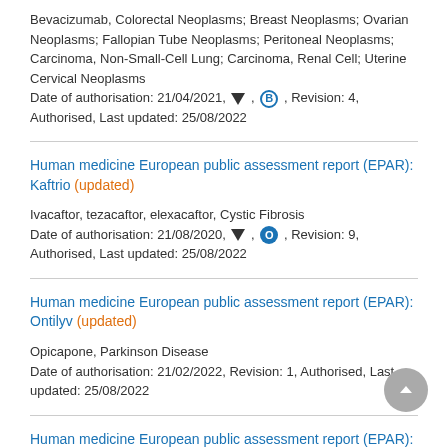Bevacizumab, Colorectal Neoplasms; Breast Neoplasms; Ovarian Neoplasms; Fallopian Tube Neoplasms; Peritoneal Neoplasms; Carcinoma, Non-Small-Cell Lung; Carcinoma, Renal Cell; Uterine Cervical Neoplasms
Date of authorisation: 21/04/2021, ▼, B, Revision: 4, Authorised, Last updated: 25/08/2022
Human medicine European public assessment report (EPAR): Kaftrio (updated)
Ivacaftor, tezacaftor, elexacaftor, Cystic Fibrosis
Date of authorisation: 21/08/2020, ▼, O, Revision: 9, Authorised, Last updated: 25/08/2022
Human medicine European public assessment report (EPAR): Ontilyv (updated)
Opicapone, Parkinson Disease
Date of authorisation: 21/02/2022, Revision: 1, Authorised, Last updated: 25/08/2022
Human medicine European public assessment report (EPAR):